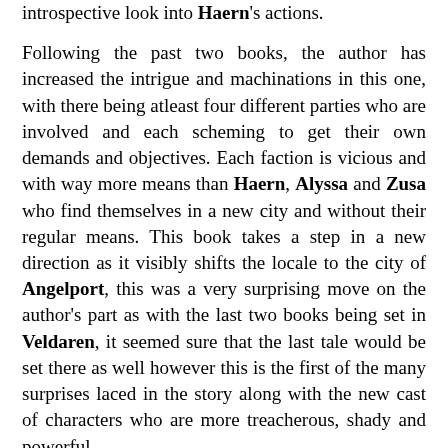introspective look into Haern's actions.
Following the past two books, the author has increased the intrigue and machinations in this one, with there being atleast four different parties who are involved and each scheming to get their own demands and objectives. Each faction is vicious and with way more means than Haern, Alyssa and Zusa who find themselves in a new city and without their regular means. This book takes a step in a new direction as it visibly shifts the locale to the city of Angelport, this was a very surprising move on the author's part as with the last two books being set in Veldaren, it seemed sure that the last tale would be set there as well however this is the first of the many surprises laced in the story along with the new cast of characters who are more treacherous, shady and powerful.
The action sequences are a particular highlight of David's writing and he doesn't disappoint in this one, choc-a-bloc with violence and action that is fast, brutal and has far reaching consequences. The best part of the story is that its pace never slackens and all the